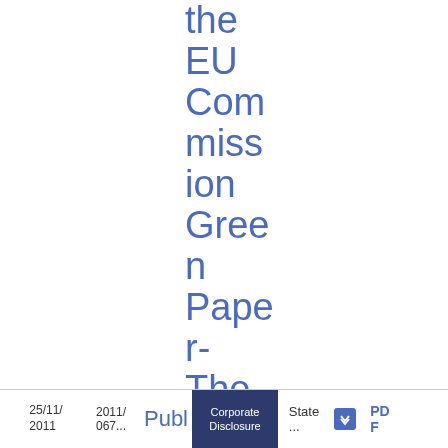the EU Commission Green Paper- The EU Corporate Governance Framework
25/11/2011  2011/  Publ  Corporate Disclosure  State  PD F